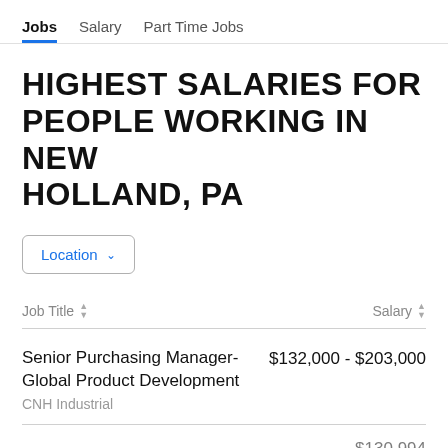Jobs  Salary  Part Time Jobs
HIGHEST SALARIES FOR PEOPLE WORKING IN NEW HOLLAND, PA
Location
| Job Title | Salary |
| --- | --- |
| Senior Purchasing Manager- Global Product Development
CNH Industrial | $132,000 - $203,000 |
| [partial row visible] | $130,994... |